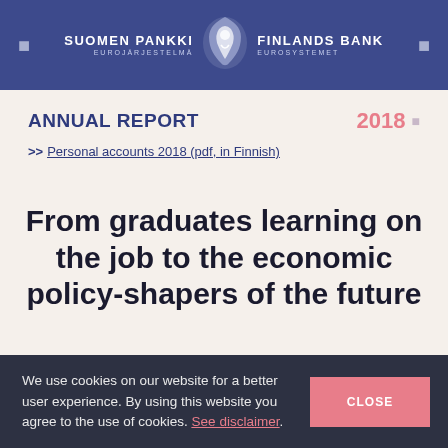SUOMEN PANKKI EUROJÄRJESTELMÄ | FINLANDS BANK EUROSYSTEMET
ANNUAL REPORT 2018
>> Personal accounts 2018 (pdf, in Finnish)
From graduates learning on the job to the economic policy-shapers of the future
We use cookies on our website for a better user experience. By using this website you agree to the use of cookies. See disclaimer.